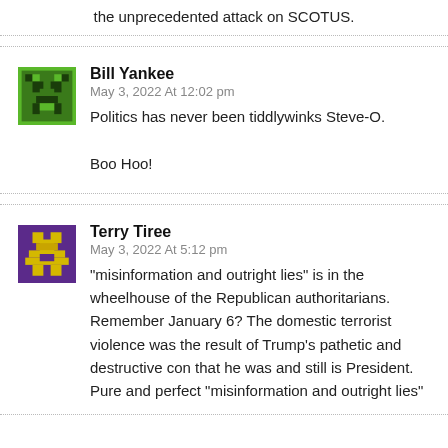the unprecedented attack on SCOTUS.
Bill Yankee
May 3, 2022 At 12:02 pm
Politics has never been tiddlywinks Steve-O.
Boo Hoo!
Terry Tiree
May 3, 2022 At 5:12 pm
“misinformation and outright lies” is in the wheelhouse of the Republican authoritarians. Remember January 6? The domestic terrorist violence was the result of Trump’s pathetic and destructive con that he was and still is President. Pure and perfect “misinformation and outright lies”